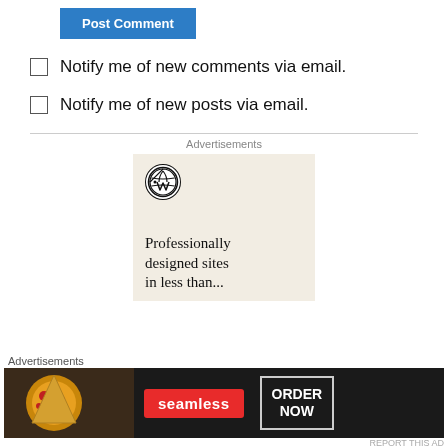[Figure (screenshot): Blue 'Post Comment' button partially visible at top]
Notify me of new comments via email.
Notify me of new posts via email.
Advertisements
[Figure (logo): WordPress advertisement with WordPress logo and text 'Professionally designed sites in less than...' on beige background]
Advertisements
[Figure (screenshot): Seamless food delivery advertisement showing pizza image, seamless logo in red, and ORDER NOW button]